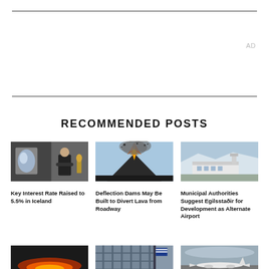AD
RECOMMENDED POSTS
[Figure (photo): Man in suit standing in an art gallery/industrial space with a painting on the wall]
Key Interest Rate Raised to 5.5% in Iceland
[Figure (photo): Volcanic eruption with lava and ash shooting into the sky]
Deflection Dams May Be Built to Divert Lava from Roadway
[Figure (photo): Aerial or ground view of an airport with snowy landscape]
Municipal Authorities Suggest Egilsstaðir for Development as Alternate Airport
[Figure (photo): Night lava flow scene]
[Figure (photo): Building facade with flag]
[Figure (photo): Aircraft on runway in overcast weather]